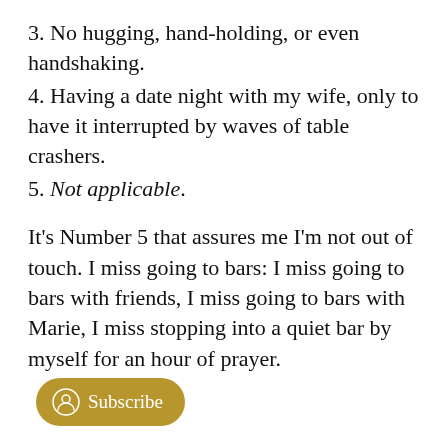3. No hugging, hand-holding, or even handshaking.
4. Having a date night with my wife, only to have it interrupted by waves of table crashers.
5. Not applicable.
It's Number 5 that assures me I'm not out of touch. I miss going to bars: I miss going to bars with friends, I miss going to bars with Marie, I miss stopping into a quiet bar by myself for an hour of prayer.
Bars are the greatest thing since pubs.